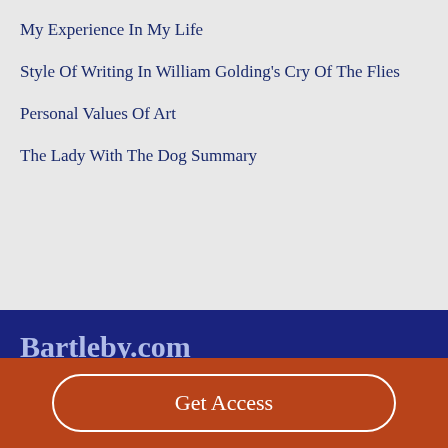My Experience In My Life
Style Of Writing In William Golding's Cry Of The Flies
Personal Values Of Art
The Lady With The Dog Summary
Bartleby.com
Great Books Online
©2021 Bartleby.com
Get Access